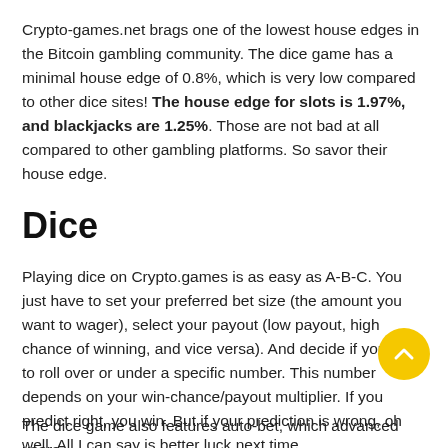Crypto-games.net brags one of the lowest house edges in the Bitcoin gambling community. The dice game has a minimal house edge of 0.8%, which is very low compared to other dice sites! The house edge for slots is 1.97%, and blackjacks are 1.25%. Those are not bad at all compared to other gambling platforms. So savor their house edge.
Dice
Playing dice on Crypto.games is as easy as A-B-C. You just have to set your preferred bet size (the amount you want to wager), select your payout (low payout, high chance of winning, and vice versa). And decide if you wish to roll over or under a specific number. This number depends on your win-chance/payout multiplier. If you predict right, you win. But if your prediction is wrong, oh well. All I can say is better luck next time.
The dice game also features auto-bet, which advanced users...